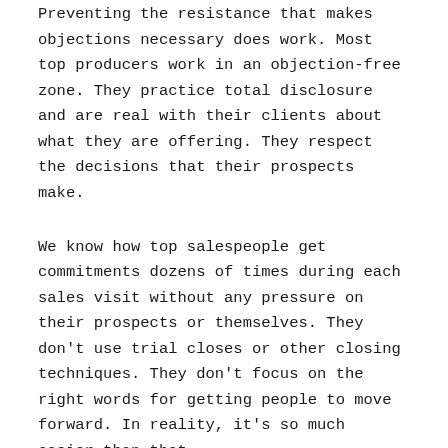Preventing the resistance that makes objections necessary does work. Most top producers work in an objection-free zone. They practice total disclosure and are real with their clients about what they are offering. They respect the decisions that their prospects make.
We know how top salespeople get commitments dozens of times during each sales visit without any pressure on their prospects or themselves. They don’t use trial closes or other closing techniques. They don’t focus on the right words for getting people to move forward. In reality, it’s so much easier than that.
Read a Story About It